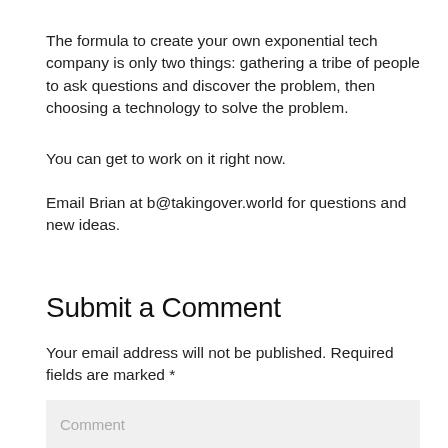The formula to create your own exponential tech company is only two things: gathering a tribe of people to ask questions and discover the problem, then choosing a technology to solve the problem.
You can get to work on it right now.
Email Brian at b@takingover.world for questions and new ideas.
Submit a Comment
Your email address will not be published. Required fields are marked *
Comment